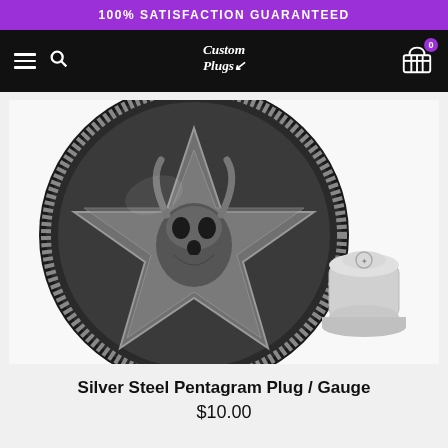100% SATISFACTION GUARANTEED
[Figure (logo): Custom Plugs logo in white script on black navigation bar with hamburger menu, search icon, and shopping cart icon with 0 badge]
[Figure (photo): Silver steel pentagram plug/gauge jewelry showing a detailed goat skull pentagram design on a circular disc plug, with a smaller cylindrical plug beside it, on white background]
Silver Steel Pentagram Plug / Gauge
$10.00